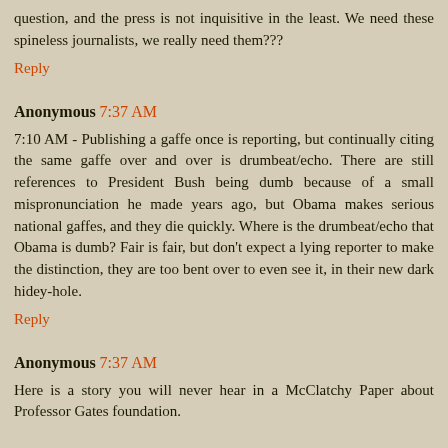question, and the press is not inquisitive in the least. We need these spineless journalists, we really need them???
Reply
Anonymous 7:37 AM
7:10 AM - Publishing a gaffe once is reporting, but continually citing the same gaffe over and over is drumbeat/echo. There are still references to President Bush being dumb because of a small mispronunciation he made years ago, but Obama makes serious national gaffes, and they die quickly. Where is the drumbeat/echo that Obama is dumb? Fair is fair, but don't expect a lying reporter to make the distinction, they are too bent over to even see it, in their new dark hidey-hole.
Reply
Anonymous 7:37 AM
Here is a story you will never hear in a McClatchy Paper about Professor Gates foundation.